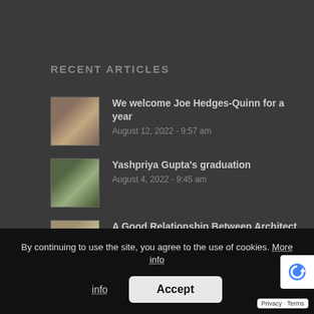RECENT ARTICLES
We welcome Joe Hedges-Quinn for a year
August 12, 2022 - 9:57 am
Yashpriya Gupta's graduation
August 4, 2022 - 9:45 am
A Good Relationship Between Architect and Interior Designer is Crucial
July 12, 2022 - 1:47 pm
Pippa Jacob joins family business as Associate Partner
June 7, 2022 - 2:12 pm
By continuing to use the site, you agree to the use of cookies. More info
Accept